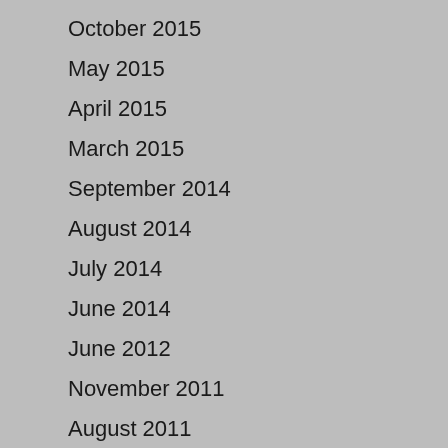October 2015
May 2015
April 2015
March 2015
September 2014
August 2014
July 2014
June 2014
June 2012
November 2011
August 2011
July 2011